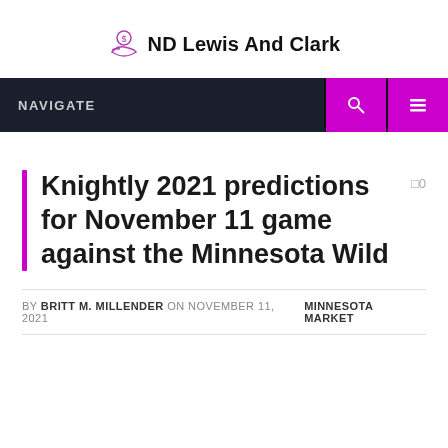ND Lewis And Clark
NAVIGATE
Knightly 2021 predictions for November 11 game against the Minnesota Wild
BY BRITT M. MILLENDER ON NOVEMBER 11, 2021   MINNESOTA MARKET